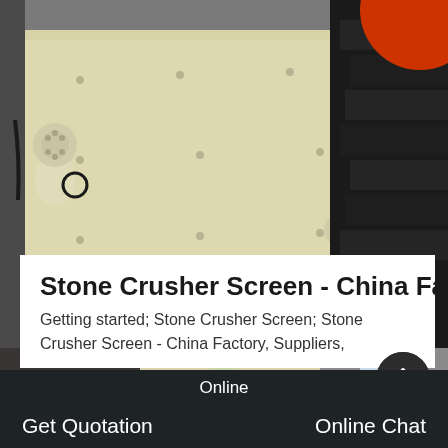[Figure (photo): Industrial stone crusher screen machine with cream/beige colored metal housing showing bolts and mounting attachments, with black mechanical components visible on the right side, photographed in a factory/warehouse setting.]
Stone Crusher Screen - China Facto
Getting started; Stone Crusher Screen; Stone Crusher Screen - China Factory, Suppliers,
GET PRICE
[Figure (photo): Partial bottom strip of another industrial machinery photo showing stone crusher equipment in a similar factory setting.]
Online   Get Quotation   Online Chat